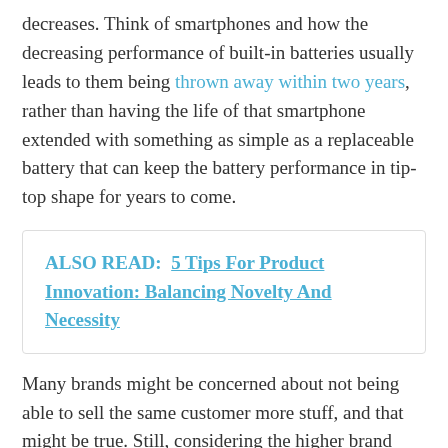decreases. Think of smartphones and how the decreasing performance of built-in batteries usually leads to them being thrown away within two years, rather than having the life of that smartphone extended with something as simple as a replaceable battery that can keep the battery performance in tip-top shape for years to come.
ALSO READ:  5 Tips For Product Innovation: Balancing Novelty And Necessity
Many brands might be concerned about not being able to sell the same customer more stuff, and that might be true. Still, considering the higher brand loyalty you'll have from customers who appreciate your focus on sustainability, you'll have a higher lifetime customer value in many